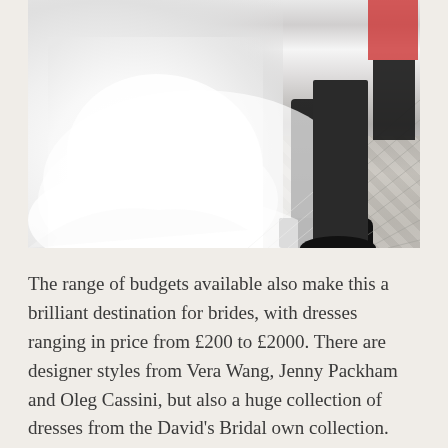[Figure (photo): Partial view of a white wedding dress with layered tulle/organza fabric on a herringbone patterned floor, with a person in dark trousers and black shoes visible to the right.]
The range of budgets available also make this a brilliant destination for brides, with dresses ranging in price from £200 to £2000. There are designer styles from Vera Wang, Jenny Packham and Oleg Cassini, but also a huge collection of dresses from the David's Bridal own collection. The same is true of bridesmaid's dresses, which again range from designer to the